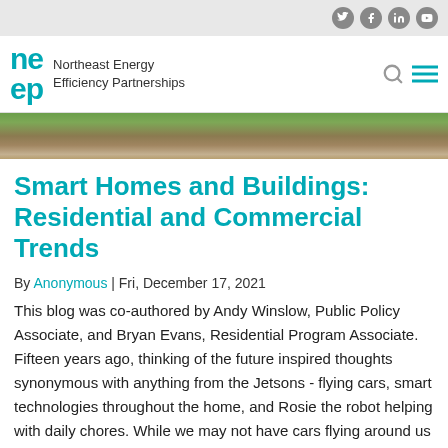Northeast Energy Efficiency Partnerships (NEEP) - social icons: Twitter, Facebook, LinkedIn, YouTube
[Figure (photo): Partial view of a building/house exterior with yellow siding and green trees in background]
Smart Homes and Buildings: Residential and Commercial Trends
By Anonymous | Fri, December 17, 2021
This blog was co-authored by Andy Winslow, Public Policy Associate, and Bryan Evans, Residential Program Associate. Fifteen years ago, thinking of the future inspired thoughts synonymous with anything from the Jetsons - flying cars, smart technologies throughout the home, and Rosie the robot helping with daily chores. While we may not have cars flying around us (yet),